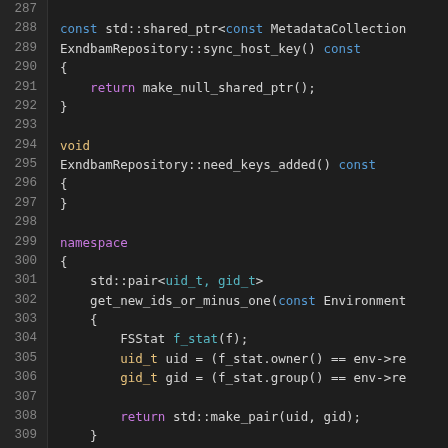[Figure (screenshot): Source code editor screenshot showing C++ code lines 287-314 with syntax highlighting on a dark background. Colors indicate keywords (blue, yellow, purple), identifiers (white), and operators.]